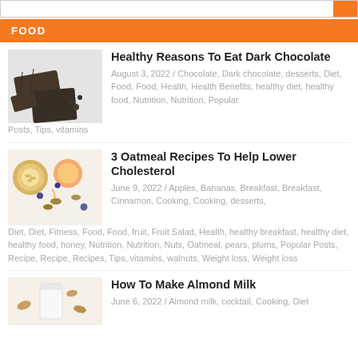FOOD
Healthy Reasons To Eat Dark Chocolate
August 3, 2022 / Chocolate, Dark chocolate, desserts, Diet, Food, Food, Health, Health Benefits, healthy diet, healthy food, Nutrition, Nutrition, Popular Posts, Tips, vitamins
3 Oatmeal Recipes To Help Lower Cholesterol
June 9, 2022 / Apples, Bananas, Breakfast, Breakfast, Cinnamon, Cooking, Cooking, desserts, Diet, Diet, Fitness, Food, Food, fruit, Fruit Salad, Health, healthy breakfast, healthy diet, healthy food, honey, Nutrition, Nutrition, Nuts, Oatmeal, pears, plums, Popular Posts, Recipe, Recipe, Recipes, Tips, vitamins, walnuts, Weight loss, Weight loss
How To Make Almond Milk
June 6, 2022 / Almond milk, cocktail, Cooking, Diet